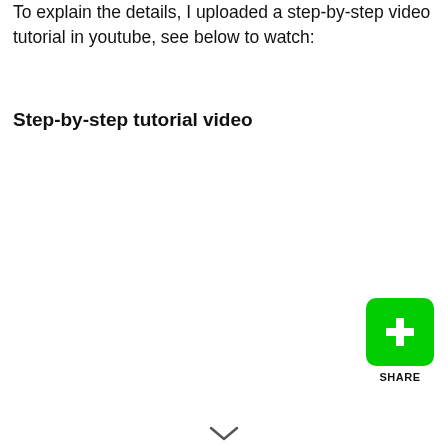To explain the details, I uploaded a step-by-step video tutorial in youtube, see below to watch:
Step-by-step tutorial video
[Figure (other): Green share button with plus icon and SHARE label]
[Figure (other): Chevron/arrow indicator at bottom center]